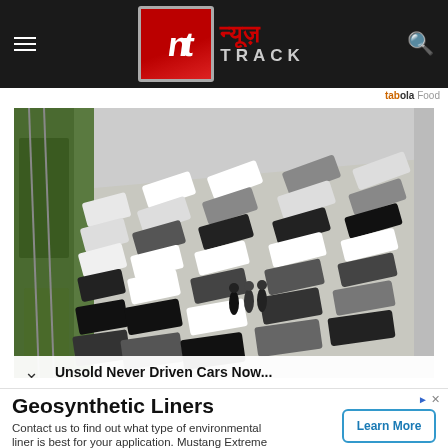न्यूज़ TRACK
[Figure (photo): Aerial view of a large car park / lot filled with dozens of cars parked closely together, including white, black, and grey vehicles. Three people are standing in the middle of the lot. Green trees and a rail line visible on the left side.]
Unsold Never Driven Cars Now...
Geosynthetic Liners
Contact us to find out what type of environmental liner is best for your application. Mustang Extreme
Learn More